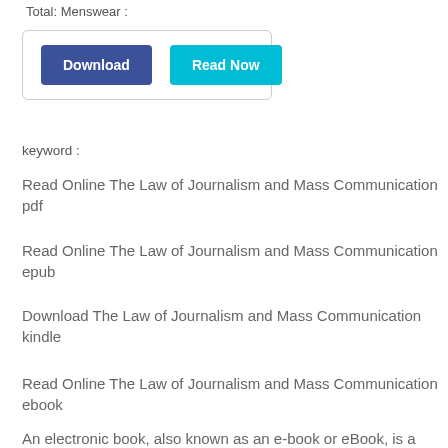Total: Menswear :
[Figure (other): Download and Read Now buttons inside a bordered box]
keyword :
Read Online The Law of Journalism and Mass Communication pdf
Read Online The Law of Journalism and Mass Communication epub
Download The Law of Journalism and Mass Communication kindle
Read Online The Law of Journalism and Mass Communication ebook
An electronic book, also known as an e-book or eBook, is a